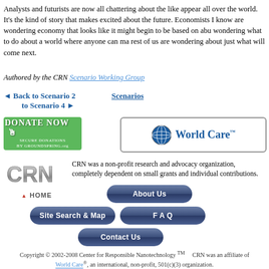Analysts and futurists are now all chattering about the like appear all over the world. It's the kind of story that makes excited about the future. Economists I know are wondering economy that looks like it might begin to be based on abu wondering what to do about a world where anyone can ma rest of us are wondering about just what will come next.
Authored by the CRN Scenario Working Group
◄ Back to Scenario 2    Scenarios    to Scenario 4 ►
[Figure (other): Green Donate Now button with Secure Donations by GroundSpring.org text]
[Figure (other): World Care logo with globe icon in a rounded rectangle border]
[Figure (logo): CRN HOME logo with stylized chrome CRN letters and red triangle home icon]
CRN was a non-profit research and advocacy organization, completely dependent on small grants and individual contributions.
[Figure (other): About Us navigation button]
[Figure (other): Site Search & Map navigation button]
[Figure (other): F A Q navigation button]
[Figure (other): Contact Us navigation button]
Copyright © 2002-2008 Center for Responsible Nanotechnology TM    CRN was an affiliate of World Care®, an international, non-profit, 501(c)(3) organization.